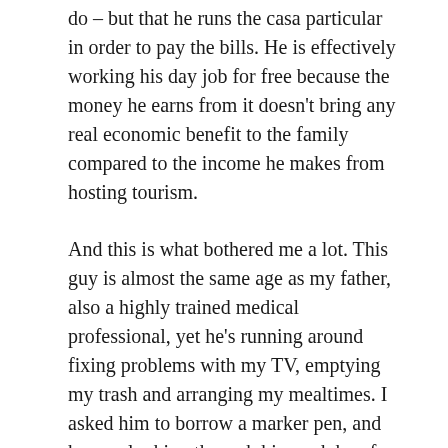do – but that he runs the casa particular in order to pay the bills. He is effectively working his day job for free because the money he earns from it doesn't bring any real economic benefit to the family compared to the income he makes from hosting tourism.
And this is what bothered me a lot. This guy is almost the same age as my father, also a highly trained medical professional, yet he's running around fixing problems with my TV, emptying my trash and arranging my mealtimes. I asked him to borrow a marker pen, and he was looking through his work bag for a pen – I was disgusted to see that he had just a couple of old ballpoint pens, hardly any paper and everything was old and in bad condition. This is how Cuba treats its highly trained professionals? A 12 year old kid in the US would have 100X better writing